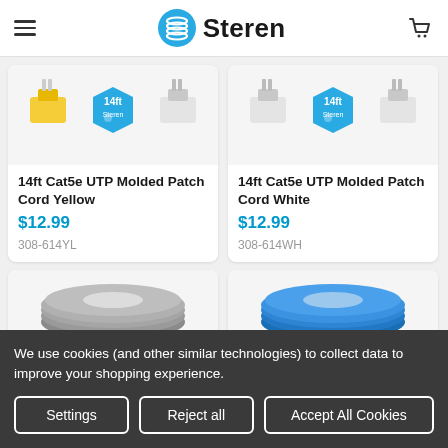Steren
[Figure (screenshot): Product card: 14ft Cat5e UTP Molded Patch Cord Yellow - image showing yellow ethernet cable with Steren badge showing 14ft]
14ft Cat5e UTP Molded Patch Cord Yellow
$12.99
308-614YL
[Figure (screenshot): Product card: 14ft Cat5e UTP Molded Patch Cord White - image showing white ethernet cable with Steren badge showing 14ft]
14ft Cat5e UTP Molded Patch Cord White
$12.99
308-614WH
[Figure (photo): Partial product card showing gray flat ethernet cable roll]
[Figure (photo): Partial product card showing blue flat ethernet cable roll]
We use cookies (and other similar technologies) to collect data to improve your shopping experience.